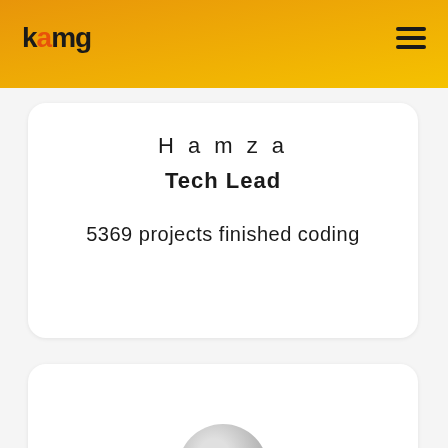kamg
Hamza
Tech Lead
5369 projects finished coding
[Figure (photo): Partially visible profile photo of a person in the second card]